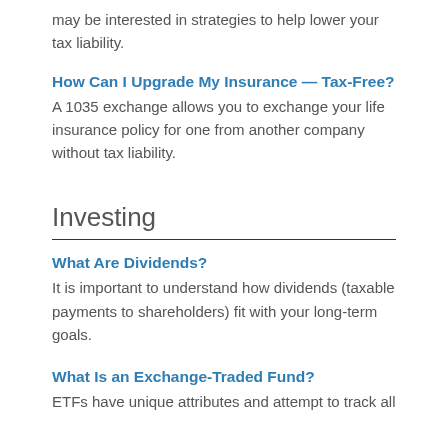may be interested in strategies to help lower your tax liability.
How Can I Upgrade My Insurance — Tax-Free?
A 1035 exchange allows you to exchange your life insurance policy for one from another company without tax liability.
Investing
What Are Dividends?
It is important to understand how dividends (taxable payments to shareholders) fit with your long-term goals.
What Is an Exchange-Traded Fund?
ETFs have unique attributes and attempt to track all